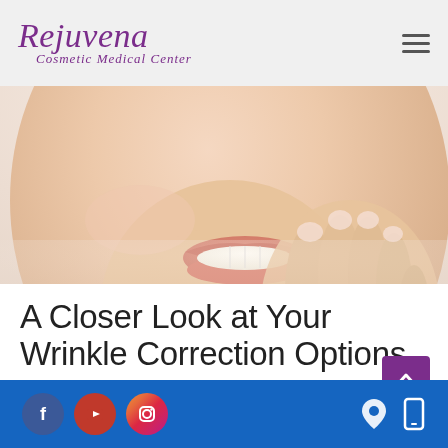[Figure (logo): Rejuvena Cosmetic Medical Center logo in purple italic script font]
[Figure (photo): Woman touching her face and smiling, beauty/skincare related image with light background]
A Closer Look at Your Wrinkle Correction Options
March 29, 2019 / Injectables, Skin Treatments, Wrinkle Correction
[Figure (other): Blue footer bar with social media icons (Facebook, YouTube, Instagram) on the left and location/mobile icons on the right]